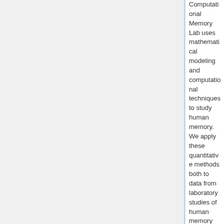Computational Memory Lab uses mathematical modeling and computational techniques to study human memory. We apply these quantitative methods both to data from laboratory studies of human memory and from electrophysiological studies done on patients with implanted electrodes.
</span><br />